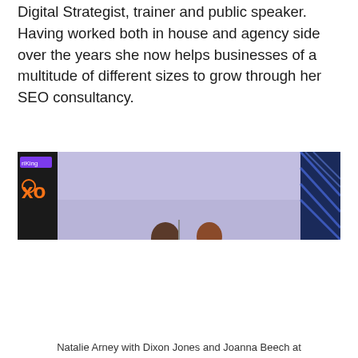Digital Strategist, trainer and public speaker. Having worked both in house and agency side over the years she now helps businesses of a multitude of different sizes to grow through her SEO consultancy.
[Figure (photo): A cropped photo showing two people on a stage with a purple/lavender background. On the left edge is a dark panel with a logo showing 'riKing' text and an orange 'xo' symbol. On the far right edge is a dark panel with blue lines pattern. Two people are partially visible at the bottom center of the image.]
Natalie Arney with Dixon Jones and Joanna Beech at